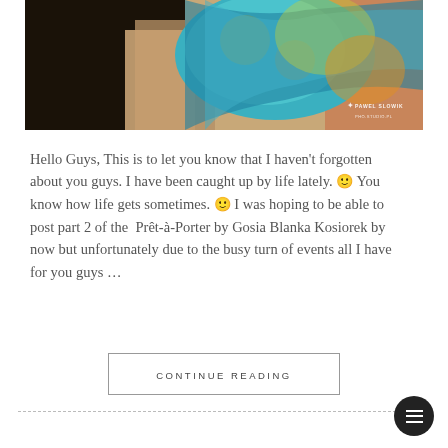[Figure (photo): Fashion photo of a woman with dark hair wearing a colorful blue, yellow, and green patterned garment, leaning against a wooden surface. Watermark reads PAWEL SLOWIK PHO.STUDIO.PL in bottom right corner.]
Hello Guys, This is to let you know that I haven't forgotten about you guys. I have been caught up by life lately. 🙂 You know how life gets sometimes. 🙂 I was hoping to be able to post part 2 of the Prêt-à-Porter by Gosia Blanka Kosiorek by now but unfortunately due to the busy turn of events all I have for you guys …
CONTINUE READING